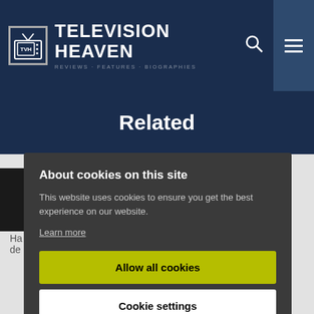Television Heaven
Related
About cookies on this site
This website uses cookies to ensure you get the best experience on our website.
Learn more
Allow all cookies
Cookie settings
Ha de